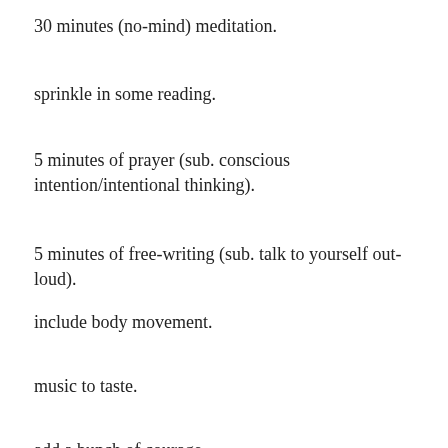30 minutes (no-mind) meditation.
sprinkle in some reading.
5 minutes of prayer (sub. conscious intention/intentional thinking).
5 minutes of free-writing (sub. talk to yourself out-loud).
include body movement.
music to taste.
add a bunch of courage.